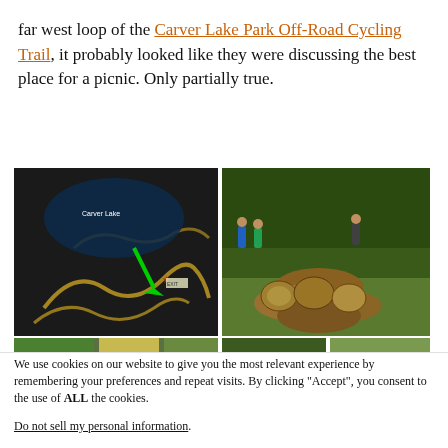far west loop of the Carver Lake Park Off-Road Cycling Trail, it probably looked like they were discussing the best place for a picnic. Only partially true.
[Figure (photo): Two side-by-side images: left shows a trail map of Carver Lake area with a green arrow pointing to a location; right shows people near a large pile of cut logs in a wooded area. Below is a partial strip of additional images.]
We use cookies on our website to give you the most relevant experience by remembering your preferences and repeat visits. By clicking “Accept”, you consent to the use of ALL the cookies.
Do not sell my personal information.